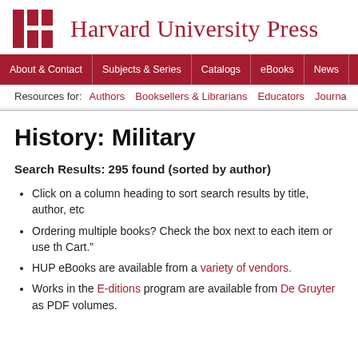[Figure (logo): Harvard University Press logo with red grid icon and red serif text]
About & Contact | Subjects & Series | Catalogs | eBooks | News | Ord
Resources for: Authors   Booksellers & Librarians   Educators   Journa
History: Military
Search Results: 295 found (sorted by author)
Click on a column heading to sort search results by title, author, etc
Ordering multiple books? Check the box next to each item or use th Cart."
HUP eBooks are available from a variety of vendors.
Works in the E-ditions program are available from De Gruyter as PDF volumes.